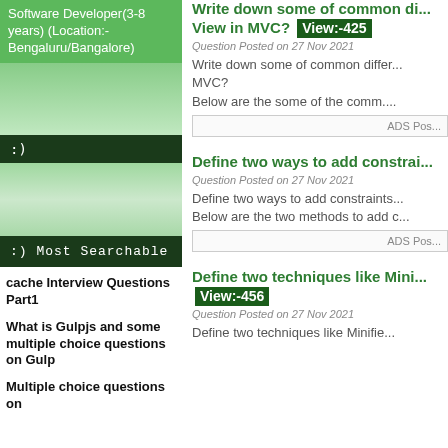Software Developer(3-8 years) (Location:-Bengaluru/Bangalore)
[Figure (illustration): Green gradient decorative box with smiley face bar in the middle]
:) Most Searchable
cache Interview Questions Part1
What is Gulpjs and some multiple choice questions on Gulp
Multiple choice questions on
Write down some of common di... View in MVC? View:-425
Question Posted on 27 Nov 2021
Write down some of common differ... MVC?
Below are the some of the comm....
ADS Pos...
Define two ways to add constrai...
Question Posted on 27 Nov 2021
Define two ways to add constraints...
Below are the two methods to add c...
ADS Pos...
Define two techniques like Mini... View:-456
Question Posted on 27 Nov 2021
Define two techniques like Minifie...